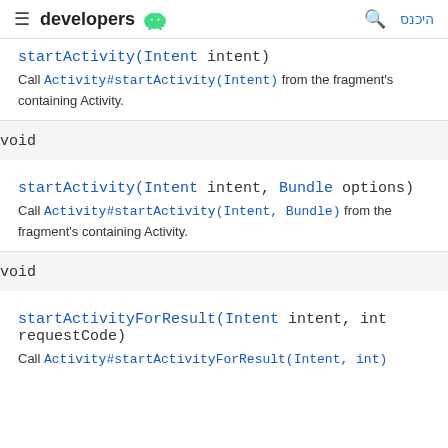developers | היכנס
startActivity(Intent intent)
Call Activity#startActivity(Intent) from the fragment's containing Activity.
void
startActivity(Intent intent, Bundle options)
Call Activity#startActivity(Intent, Bundle) from the fragment's containing Activity.
void
startActivityForResult(Intent intent, int requestCode)
Call Activity#startActivityForResult(Intent, int)